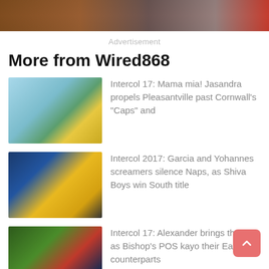[Figure (photo): Soccer goalkeeper at goal with red background banner]
Advertisement
More from Wired868
[Figure (photo): Female soccer players in purple and green kits]
Intercol 17: Mama mia! Jasandra propels Pleasantville past Cornwall’s “Caps” and
[Figure (photo): Team celebrating with trophy and blue flag]
Intercol 2017: Garcia and Yohannes screamers silence Naps, as Shiva Boys win South title
[Figure (photo): Soccer players in red and blue kits with ball in air]
Intercol 17: Alexander brings the pain as Bishop’s POS kayo their East counterparts